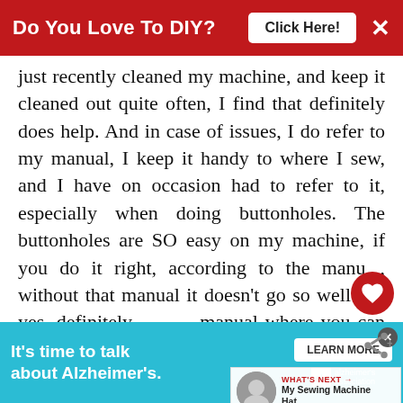Do You Love To DIY? Click Here! ×
just recently cleaned my machine, and keep it cleaned out quite often, I find that definitely does help. And in case of issues, I do refer to my manual, I keep it handy to where I sew, and I have on occasion had to refer to it, especially when doing buttonholes. The buttonholes are SO easy on my machine, if you do it right, according to the manual, without that manual it doesn't go so well! So yes, definitely keep a manual where you can refer to it, it does make all the difference too. I've
It's time to talk about Alzheimer's. LEARN MORE alzheimer's association